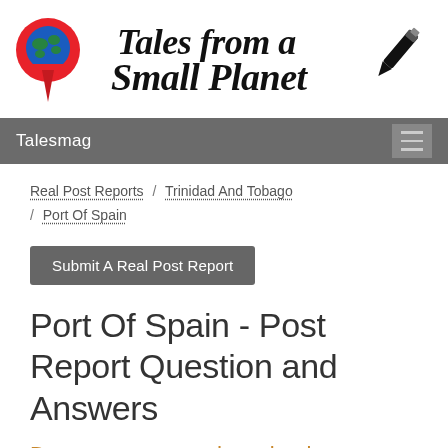[Figure (logo): Tales from a Small Planet logo with red location pin with globe and fountain pen icon, and cursive/script text reading 'Tales from a Small Planet']
Talesmag
Real Post Reports / Trinidad And Tobago / Port Of Spain
Submit A Real Post Report
Port Of Spain - Post Report Question and Answers
Do you recommend any books or